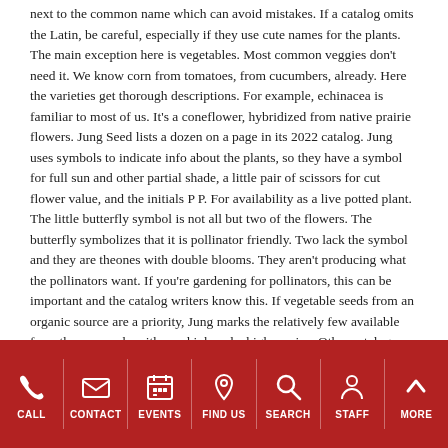next to the common name which can avoid mistakes. If a catalog omits the Latin, be careful, especially if they use cute names for the plants. The main exception here is vegetables. Most common veggies don't need it. We know corn from tomatoes, from cucumbers, already. Here the varieties get thorough descriptions. For example, echinacea is familiar to most of us. It's a coneflower, hybridized from native prairie flowers. Jung Seed lists a dozen on a page in its 2022 catalog. Jung uses symbols to indicate info about the plants, so they have a symbol for full sun and other partial shade, a little pair of scissors for cut flower value, and the initials P P. For availability as a live potted plant. The little butterfly symbol is not all but two of the flowers. The butterfly symbolizes that it is pollinator friendly. Two lack the symbol and they are theones with double blooms. They aren't producing what the pollinators want. If you're gardening for pollinators, this can be important and the catalog writers know this. If vegetable seeds from an organic source are a priority, Jung marks the relatively few available from them as such, with a red ink and a higher price. Other catalogs are entirely from organic sources. Before I go any further, I must say that every catalog has good and bad points. Some have inadequate information about the seeds. Some have awesome gadgets and tidbits of extra information about plants that head off disappointment. I like them all. Anybody eavesdropping on me when I indulge in reading through a stack of catalogs will over hear "I didn't know that" as frequently as "what a load of compost; in the same catalog.
CALL | CONTACT | EVENTS | FIND US | SEARCH | STAFF | MORE